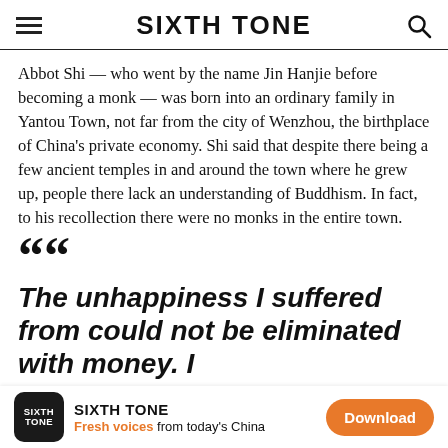SIXTH TONE
Abbot Shi — who went by the name Jin Hanjie before becoming a monk — was born into an ordinary family in Yantou Town, not far from the city of Wenzhou, the birthplace of China's private economy. Shi said that despite there being a few ancient temples in and around the town where he grew up, people there lack an understanding of Buddhism. In fact, to his recollection there were no monks in the entire town.
The unhappiness I suffered from could not be eliminated with money. I
SIXTH TONE | Fresh voices from today's China | Download